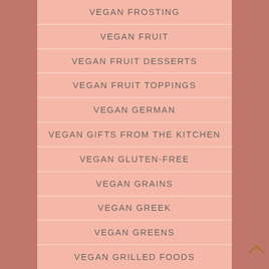VEGAN FROSTING
VEGAN FRUIT
VEGAN FRUIT DESSERTS
VEGAN FRUIT TOPPINGS
VEGAN GERMAN
VEGAN GIFTS FROM THE KITCHEN
VEGAN GLUTEN-FREE
VEGAN GRAINS
VEGAN GREEK
VEGAN GREENS
VEGAN GRILLED FOODS